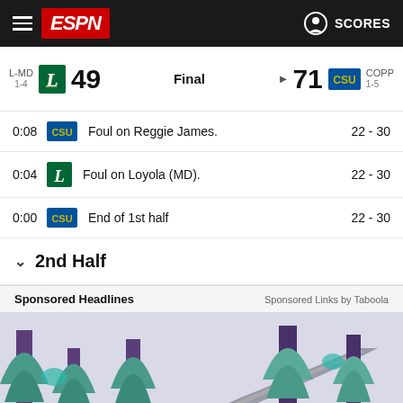ESPN SCORES
L-MD 1-4  49  Final  71  COPP 1-5
0:08  CSU  Foul on Reggie James.  22 - 30
0:04  L  Foul on Loyola (MD).  22 - 30
0:00  CSU  End of 1st half  22 - 30
2nd Half
Sponsored Headlines  Sponsored Links by Taboola
[Figure (illustration): Illustrated forest scene with winding road, purple trees with teal foliage, two people in foreground with a yellow tent]